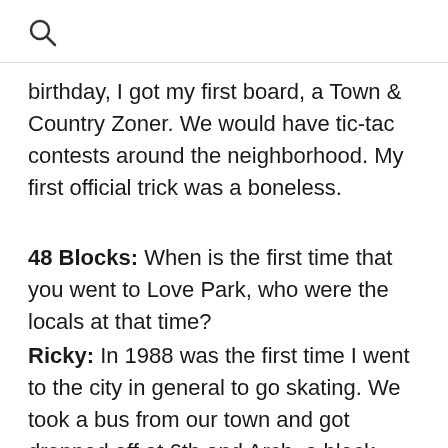Search icon
birthday, I got my first board, a Town & Country Zoner. We would have tic-tac contests around the neighborhood. My first official trick was a boneless.
48 Blocks: When is the first time that you went to Love Park, who were the locals at that time?
Ricky: In 1988 was the first time I went to the city in general to go skating. We took a bus from our town and got dropped off at 6th and Arch, a block away from the Afro banks. Love